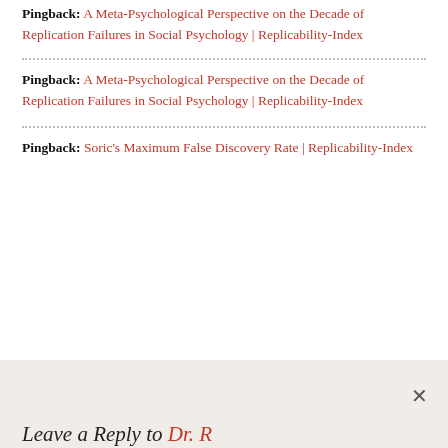Pingback: A Meta-Psychological Perspective on the Decade of Replication Failures in Social Psychology | Replicability-Index
Pingback: A Meta-Psychological Perspective on the Decade of Replication Failures in Social Psychology | Replicability-Index
Pingback: Soric's Maximum False Discovery Rate | Replicability-Index
Leave a Reply to Dr. R